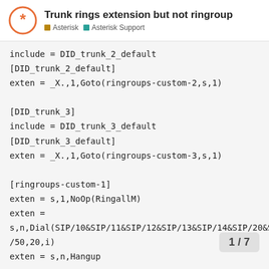Trunk rings extension but not ringroup
Asterisk  Asterisk Support
include = DID_trunk_2_default
[DID_trunk_2_default]
exten = _X.,1,Goto(ringroups-custom-2,s,1)

[DID_trunk_3]
include = DID_trunk_3_default
[DID_trunk_3_default]
exten = _X.,1,Goto(ringroups-custom-3,s,1)

[ringroups-custom-1]
exten = s,1,NoOp(RingallM)
exten =
s,n,Dial(SIP/10&SIP/11&SIP/12&SIP/13&SIP/14&SIP/20&SIP/50,20,i)
exten = s,n,Hangup

[ringroups-custom-2]
exten = s,1,NoOp(RingallV)
exten = s,n,Dial(SIP/14&SIP/30&SIP/31&S
exten = s,n,Hangup
1 / 7